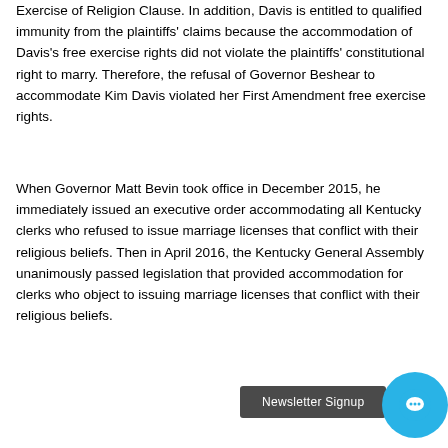Exercise of Religion Clause. In addition, Davis is entitled to qualified immunity from the plaintiffs' claims because the accommodation of Davis's free exercise rights did not violate the plaintiffs' constitutional right to marry. Therefore, the refusal of Governor Beshear to accommodate Kim Davis violated her First Amendment free exercise rights.
When Governor Matt Bevin took office in December 2015, he immediately issued an executive order accommodating all Kentucky clerks who refused to issue marriage licenses that conflict with their religious beliefs. Then in April 2016, the Kentucky General Assembly unanimously passed legislation that provided accommodation for clerks who object to issuing marriage licenses that conflict with their religious beliefs.